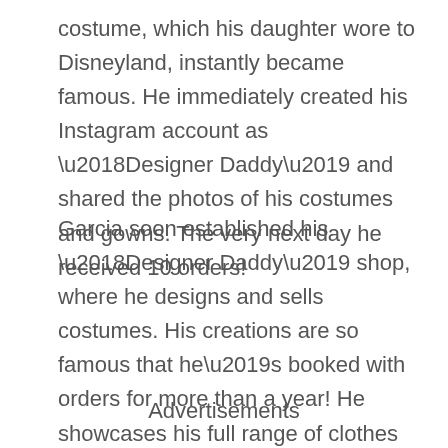costume, which his daughter wore to Disneyland, instantly became famous. He immediately created his Instagram account as ‘Designer Daddy’ and shared the photos of his costumes and gowns. The very next day he received 10 orders!
Garcia soon established his ‘Designer Daddy’ shop, where he designs and sells costumes. His creations are so famous that he’s booked with orders for more than a year! He showcases his full range of clothes in his Etsy shop, on his Instagram page ‘Designer Daddy’ and on his website: designerdaddystudio.com.
Advertisements